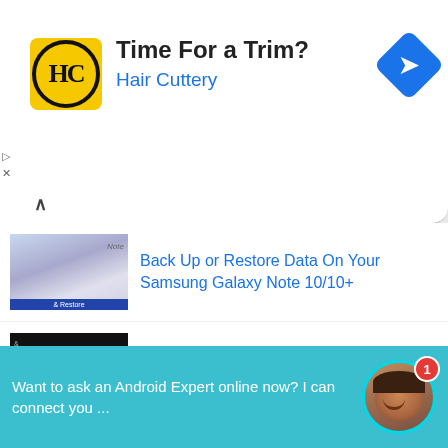[Figure (screenshot): Hair Cuttery advertisement banner with yellow logo, 'Time For a Trim?' headline, blue subtitle 'Hair Cuttery', and blue navigation arrow icon]
Back Up or Restore Data On Your Samsung Galaxy Note 10/10+
3 Ways To Backup And Restore Google Pixel 3a (XL)
6 Methods To Backup And Restore Data On Samsung Galaxy Fold
Want to ask an Android Expert online now? I can connect you ...